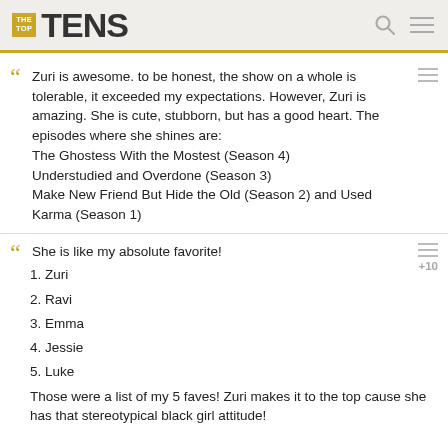TheTopTens
Zuri is awesome. to be honest, the show on a whole is tolerable, it exceeded my expectations. However, Zuri is amazing. She is cute, stubborn, but has a good heart. The episodes where she shines are:
The Ghostess With the Mostest (Season 4)
Understudied and Overdone (Season 3)
Make New Friend But Hide the Old (Season 2) and Used Karma (Season 1)
She is like my absolute favorite!
1. Zuri
2. Ravi
3. Emma
4. Jessie
5. Luke
Those were a list of my 5 faves! Zuri makes it to the top cause she has that stereotypical black girl attitude!